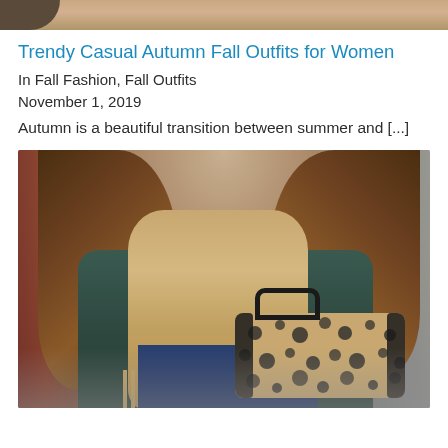[Figure (photo): Top portion of a fashion photo, cropped, showing someone's lower body/feet area]
Trendy Casual Autumn Fall Outfits for Women
In Fall Fashion, Fall Outfits
November 1, 2019
Autumn is a beautiful transition between summer and [...]
[Figure (photo): Woman wearing a large beige/tan fringed scarf over a dark teal jacket, blue ripped jeans, and carrying a leopard print bag]